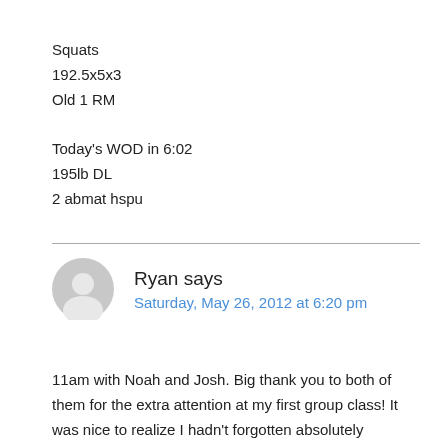Squats
192.5x5x3
Old 1 RM

Today's WOD in 6:02
195lb DL
2 abmat hspu
Ryan says
Saturday, May 26, 2012 at 6:20 pm
11am with Noah and Josh. Big thank you to both of them for the extra attention at my first group class! It was nice to realize I hadn't forgotten absolutely everything from Foundations....